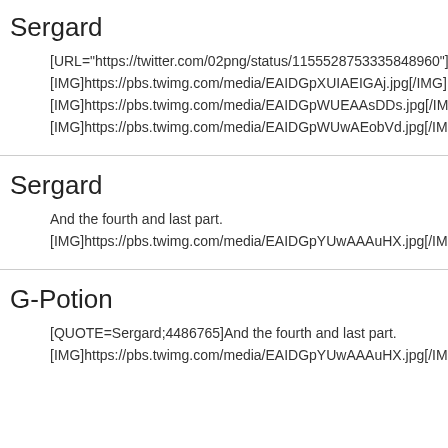Sergard
[URL="https://twitter.com/02png/status/1155528753335848960"]02p
[IMG]https://pbs.twimg.com/media/EAIDGpXUIAEIGAj.jpg[/IMG]
[IMG]https://pbs.twimg.com/media/EAIDGpWUEAAsDDs.jpg[/IMG]
[IMG]https://pbs.twimg.com/media/EAIDGpWUwAEobVd.jpg[/IMG]
Sergard
And the fourth and last part.
[IMG]https://pbs.twimg.com/media/EAIDGpYUwAAAuHX.jpg[/IMG]
G-Potion
[QUOTE=Sergard;4486765]And the fourth and last part.
[IMG]https://pbs.twimg.com/media/EAIDGpYUwAAAuHX.jpg[/IMG][